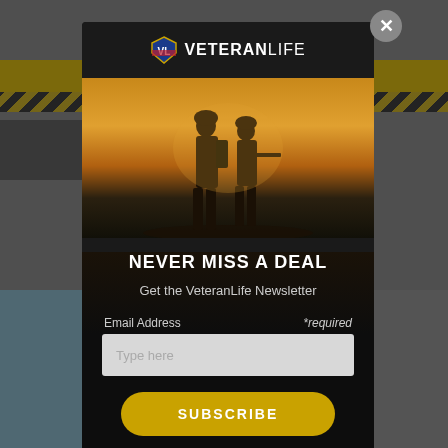[Figure (screenshot): Blurred website background with navigation bar, yellow/black striped banner, and partial article content visible behind modal overlay]
[Figure (illustration): VeteranLife newsletter subscription modal popup with logo, hero image of two soldier silhouettes, headline 'NEVER MISS A DEAL', subtitle 'Get the VeteranLife Newsletter', email input field, and Subscribe button]
NEVER MISS A DEAL
Get the VeteranLife Newsletter
Email Address
*required
Type here
SUBSCRIBE